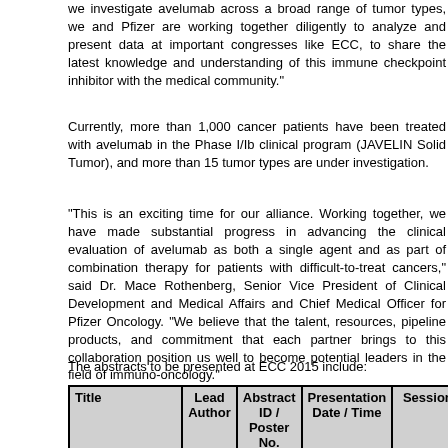we investigate avelumab across a broad range of tumor types, we and Pfizer are working together diligently to analyze and present data at important congresses like ECC, to share the latest knowledge and understanding of this immune checkpoint inhibitor with the medical community."
Currently, more than 1,000 cancer patients have been treated with avelumab in the Phase I/Ib clinical program (JAVELIN Solid Tumor), and more than 15 tumor types are under investigation.
“This is an exciting time for our alliance. Working together, we have made substantial progress in advancing the clinical evaluation of avelumab as both a single agent and as part of combination therapy for patients with difficult-to-treat cancers,” said Dr. Mace Rothenberg, Senior Vice President of Clinical Development and Medical Affairs and Chief Medical Officer for Pfizer Oncology. “We believe that the talent, resources, pipeline products, and commitment that each partner brings to this collaboration position us well to become potential leaders in the field of immuno-oncology.”
The abstracts to be presented at ECC 2015 include:
| Title | Lead Author | Abstract ID / Poster No. | Presentation Date / Time | Session |
| --- | --- | --- | --- | --- |
| NSCLC: Avelumab (MSB0010718C), | Gulley J | Abstract ID: 3090 Poster board | Date: September 27 Time: 09:15– | Lung Cancer Metastatic Disease |